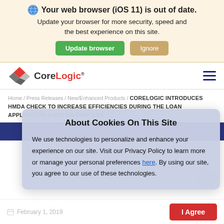[Figure (screenshot): Browser update notification banner with globe icon, bold title 'Your web browser (iOS 11) is out of date.', descriptive text, and two buttons: 'Update browser' (green) and 'Ignore' (tan).]
[Figure (logo): CoreLogic logo with diamond/cube icon in red and gray, and 'CoreLogic' text in red. Hamburger menu icon (three navy lines) on the right.]
Home / Press Releases / New/Enhanced Products / CORELOGIC INTRODUCES HMDA CHECK TO INCREASE EFFICIENCIES DURING THE LOAN APPLICATION AUDITING PROCESS
[Figure (screenshot): Cookie consent modal overlay with title 'About Cookies On This Site', body text about personalization and privacy policy, a link 'here', and message about agreeing to use of technologies.]
We use technologies to personalize and enhance your experience on our site. Visit our Privacy Policy to learn more or manage your personal preferences here. By using our site, you agree to our use of these technologies.
PRESS RELEASE
February 1, 2019
I Agree